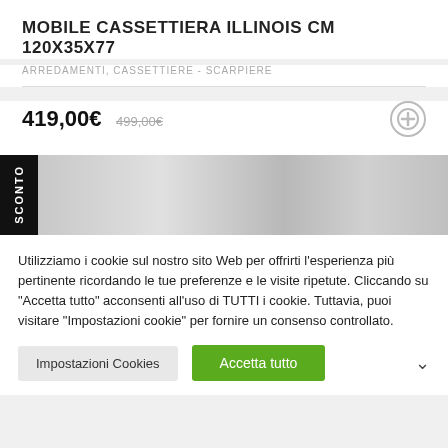MOBILE CASSETTIERA ILLINOIS CM 120X35X77
ARREDAMENTI, CASSETTIERE - SCARPIERE
419,00€  499,00€
[Figure (photo): Product banner image with SCONTO label on the left side, showing furniture in grey tones]
Utilizziamo i cookie sul nostro sito Web per offrirti l'esperienza più pertinente ricordando le tue preferenze e le visite ripetute. Cliccando su "Accetta tutto" acconsenti all'uso di TUTTI i cookie. Tuttavia, puoi visitare "Impostazioni cookie" per fornire un consenso controllato.